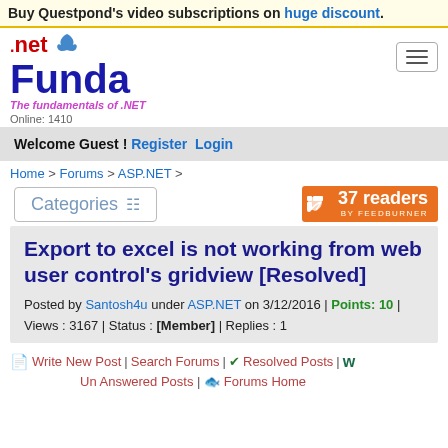Buy Questpond's video subscriptions on huge discount.
[Figure (logo): .net Funda logo with tagline 'The fundamentals of .NET' and Online: 1410]
Welcome Guest ! Register Login
Home > Forums > ASP.NET >
Categories
[Figure (infographic): FeedBurner badge showing 37 readers]
Export to excel is not working from web user control's gridview [Resolved]
Posted by Santosh4u under ASP.NET on 3/12/2016 | Points: 10 | Views : 3167 | Status : [Member] | Replies : 1
Write New Post | Search Forums | Resolved Posts | Un Answered Posts | Forums Home